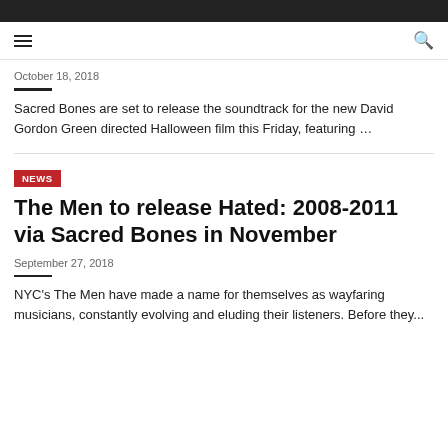October 18, 2018
Sacred Bones are set to release the soundtrack for the new David Gordon Green directed Halloween film this Friday, featuring …
NEWS
The Men to release Hated: 2008-2011 via Sacred Bones in November
September 27, 2018
NYC's The Men have made a name for themselves as wayfaring musicians, constantly evolving and eluding their listeners. Before they...